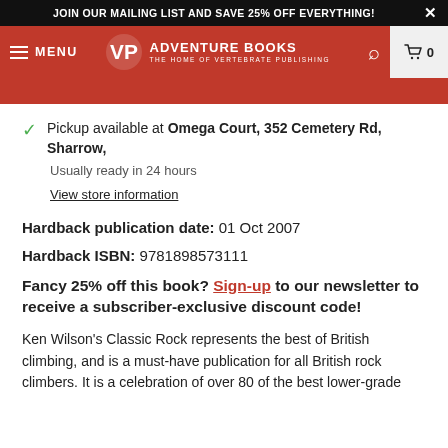JOIN OUR MAILING LIST AND SAVE 25% OFF EVERYTHING!
[Figure (screenshot): Adventure Books / Vertebrate Publishing navigation bar with hamburger menu, VP logo, search icon, and cart showing 0 items.]
Pickup available at Omega Court, 352 Cemetery Rd, Sharrow,
Usually ready in 24 hours
View store information
Hardback publication date: 01 Oct 2007
Hardback ISBN: 9781898573111
Fancy 25% off this book? Sign-up to our newsletter to receive a subscriber-exclusive discount code!
Ken Wilson's Classic Rock represents the best of British climbing, and is a must-have publication for all British rock climbers. It is a celebration of over 80 of the best lower-grade